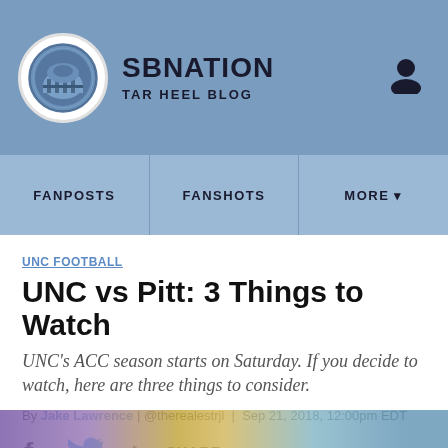SBNATION TAR HEEL BLOG
FANPOSTS | FANSHOTS | MORE
UNC FOOTBALL
UNC vs Pitt: 3 Things to Watch
UNC's ACC season starts on Saturday. If you decide to watch, here are three things to consider.
By Jake Lawrence | @therealestrjl | Sep 21, 2018, 12:00pm EDT
[Figure (infographic): Social share icons: Facebook, Twitter, and share button with SHARE label]
[Figure (photo): Bottom strip showing a sports crowd/game photo]